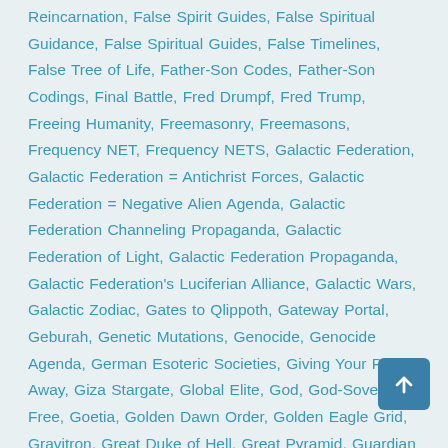Reincarnation, False Spirit Guides, False Spiritual Guidance, False Spiritual Guides, False Timelines, False Tree of Life, Father-Son Codes, Father-Son Codings, Final Battle, Fred Drumpf, Fred Trump, Freeing Humanity, Freemasonry, Freemasons, Frequency NET, Frequency NETS, Galactic Federation, Galactic Federation = Antichrist Forces, Galactic Federation = Negative Alien Agenda, Galactic Federation Channeling Propaganda, Galactic Federation of Light, Galactic Federation Propaganda, Galactic Federation's Luciferian Alliance, Galactic Wars, Galactic Zodiac, Gates to Qlippoth, Gateway Portal, Geburah, Genetic Mutations, Genocide, Genocide Agenda, German Esoteric Societies, Giving Your Power Away, Giza Stargate, Global Elite, God, God-Sovereign-Free, Goetia, Golden Dawn Order, Golden Eagle Grid, Gravitron, Great Duke of Hell, Great Pyramid, Guardian Christos Mission, Guardian Founder Races, Guardian Host, Guardian Host Christos Mission, Guardian Host Planetary Protection, Guardian Krystal Star, Guidance, Heinrich Himmler, Helena Blavatsky, Hell, Hidden Agendas,